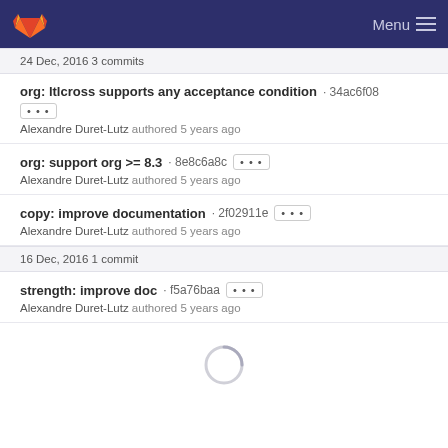GitLab Menu
24 Dec, 2016 3 commits
org: ltlcross supports any acceptance condition · 34ac6f08
Alexandre Duret-Lutz authored 5 years ago
org: support org >= 8.3 · 8e8c6a8c
Alexandre Duret-Lutz authored 5 years ago
copy: improve documentation · 2f02911e
Alexandre Duret-Lutz authored 5 years ago
16 Dec, 2016 1 commit
strength: improve doc · f5a76baa
Alexandre Duret-Lutz authored 5 years ago
[Figure (other): Loading spinner circle indicator]